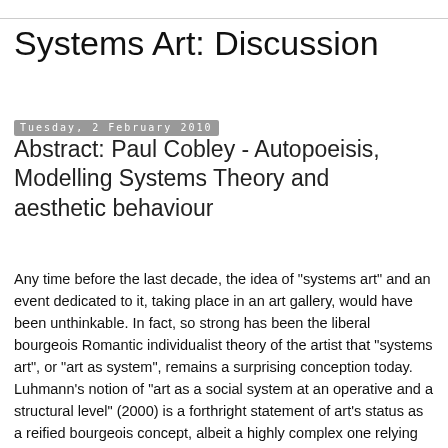Systems Art: Discussion
Tuesday, 2 February 2010
Abstract: Paul Cobley - Autopoeisis, Modelling Systems Theory and aesthetic behaviour
Any time before the last decade, the idea of "systems art" and an event dedicated to it, taking place in an art gallery, would have been unthinkable. In fact, so strong has been the liberal bourgeois Romantic individualist theory of the artist that "systems art", or "art as system", remains a surprising conception today. Luhmann’s notion of "art as a social system at an operative and a structural level" (2000) is a forthright statement of art's status as a reified bourgeois concept, albeit a highly complex one relying on art’s maintenance of a putative quasi-autonomous relationship with its social environment, purporting to elude operative